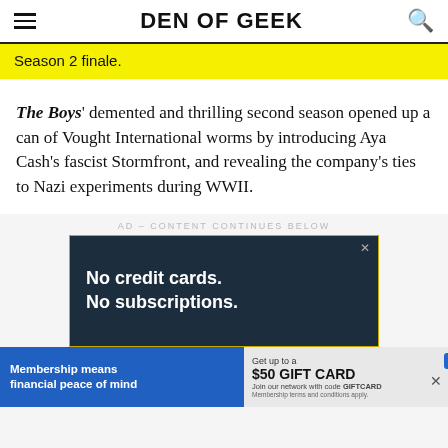DEN OF GEEK
Season 2 finale.
The Boys' demented and thrilling second season opened up a can of Vought International worms by introducing Aya Cash's fascist Stormfront, and revealing the company's ties to Nazi experiments during WWII.
AD – CONTENT CONTINUES BELOW
[Figure (screenshot): Advertisement banner: dark background with gold border, white bold text reading 'No credit cards. No subscriptions.' with close X button]
[Figure (screenshot): Bottom banner ad: left side blue background 'Membership means financial peace of mind', right side grey 'Get up to a $50 GIFT CARD Join our network with code GIFTCARD Membership terms and conditions apply.']